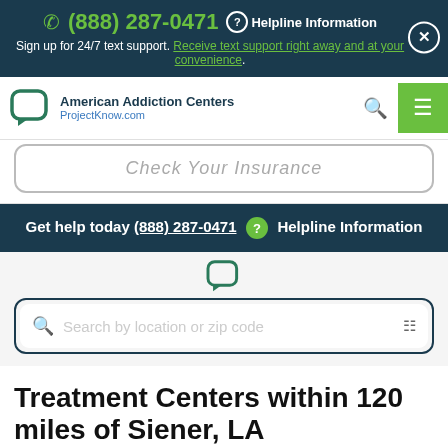(888) 287-0471 Helpline Information. Sign up for 24/7 text support. Receive text support right away and at your convenience.
[Figure (logo): American Addiction Centers / ProjectKnow.com logo with chat bubble icon]
Check Your Insurance
Get help today (888) 287-0471 ? Helpline Information
Search by location or zip code
Treatment Centers within 120 miles of Siener, LA